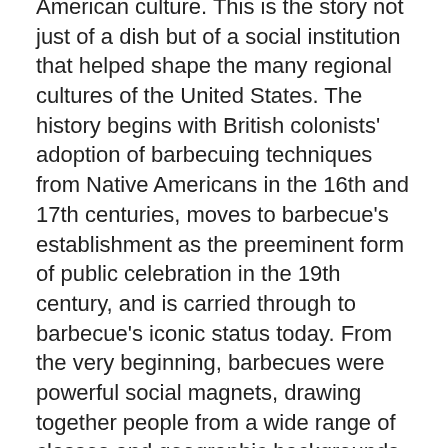American culture. This is the story not just of a dish but of a social institution that helped shape the many regional cultures of the United States. The history begins with British colonists' adoption of barbecuing techniques from Native Americans in the 16th and 17th centuries, moves to barbecue's establishment as the preeminent form of public celebration in the 19th century, and is carried through to barbecue's iconic status today. From the very beginning, barbecues were powerful social magnets, drawing together people from a wide range of classes and geographic backgrounds. Barbecue played a key role in three centuries of American history, both reflecting and influencing the direction of an evolving society. By tracing the story of barbecue from its origins to today, Barbecue: The History of an American Institution traces the very thread of American social history.
View Details >>